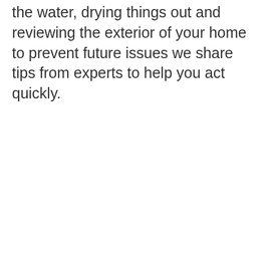the water, drying things out and reviewing the exterior of your home to prevent future issues we share tips from experts to help you act quickly.